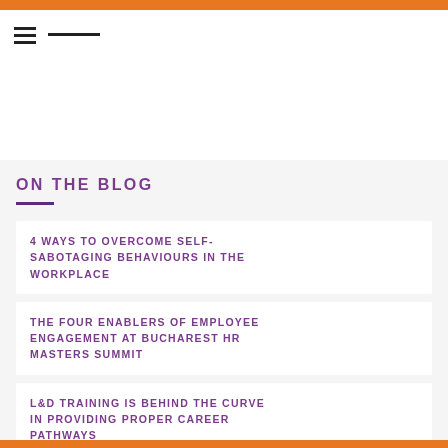ON THE BLOG
ON THE BLOG
4 WAYS TO OVERCOME SELF-SABOTAGING BEHAVIOURS IN THE WORKPLACE
THE FOUR ENABLERS OF EMPLOYEE ENGAGEMENT AT BUCHAREST HR MASTERS SUMMIT
L&D TRAINING IS BEHIND THE CURVE IN PROVIDING PROPER CAREER PATHWAYS